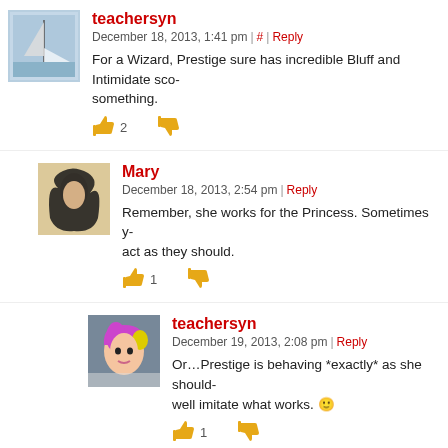teachersyn — December 18, 2013, 1:41 pm | # | Reply
For a Wizard, Prestige sure has incredible Bluff and Intimidate scor... something.
Mary — December 18, 2013, 2:54 pm | Reply
Remember, she works for the Princess. Sometimes y... act as they should.
teachersyn — December 19, 2013, 2:08 pm | Reply
Or…Prestige is behaving *exactly* as she should... well imitate what works.
Envisioner — December 19, 2013, 1:19 am | Reply
There are several ways for wizards to get those skills... Enchanter from Unearthed Arcana (it only gives Bluff...